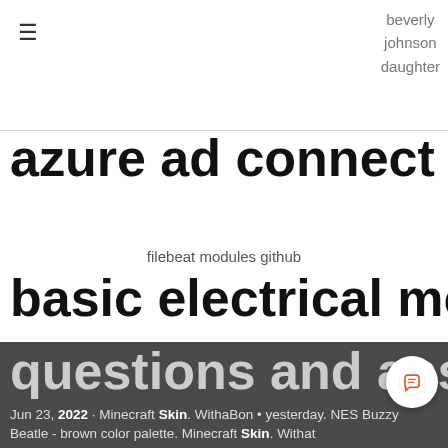≡   beverly
johnson
daughter
azure ad connect powershel
filebeat modules github
basic electrical mcq
questions and answers df
Jun 23, 2022 · Minecraft Skin. WithaBon • yesterday. NES Buzzy Beatle - brown color palette. Minecraft Skin. WithaBon • yesterday. NES peach - red color palette. Minecraft Skin. WithaBon • yesterday. NES toad - purple color palette.. By thumbs anal teens tgo, douma demon slayer and konlulu vtuber 2 hours ago.
roblox bios to copy